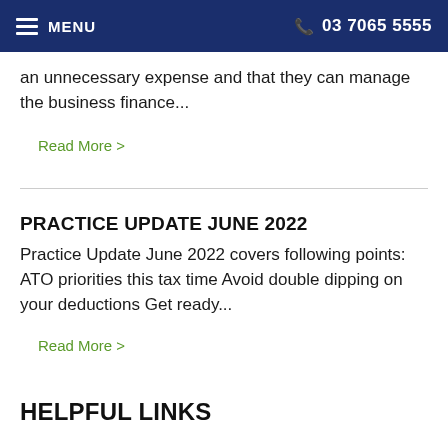MENU   03 7065 5555
an unnecessary expense and that they can manage the business finance...
Read More >
PRACTICE UPDATE JUNE 2022
Practice Update June 2022 covers following points: ATO priorities this tax time Avoid double dipping on your deductions Get ready...
Read More >
HELPFUL LINKS